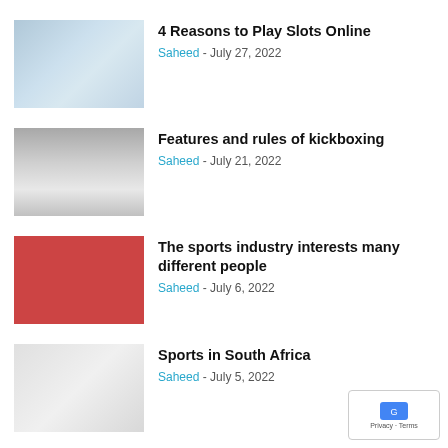[Figure (photo): Thumbnail image for slots article - bluish toned image]
4 Reasons to Play Slots Online
Saheed - July 27, 2022
[Figure (photo): Thumbnail image for kickboxing article - grayscale gym/figure image]
Features and rules of kickboxing
Saheed - July 21, 2022
[Figure (photo): Thumbnail image for sports industry article - red background with football helmets]
The sports industry interests many different people
Saheed - July 6, 2022
[Figure (photo): Thumbnail image for South Africa sports article - light gray background]
Sports in South Africa
Saheed - July 5, 2022